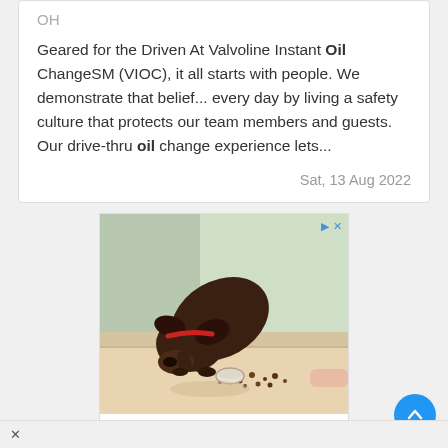OH
Geared for the Driven At Valvoline Instant Oil ChangeSM (VIOC), it all starts with people. We demonstrate that belief... every day by living a safety culture that protects our team members and guests. Our drive-thru oil change experience lets...
Sat, 13 Aug 2022
[Figure (photo): Advertisement showing a dark brown puppy with a red collar sniffing food on a floor near a window, with text 'Pet Health + Wellness Pr...' and a Loyal logo]
Pet Health + Wellness Pr...